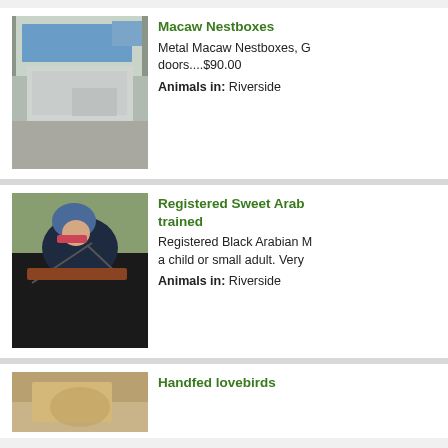[Figure (photo): Metal Macaw Nestboxes on a concrete surface outdoors]
Macaw Nestboxes
Metal Macaw Nestboxes, G doors....$90.00
Animals in: Riverside
[Figure (photo): Person riding a black Arabian horse, wearing blue helmet]
Registered Sweet Arab trained
Registered Black Arabian M a child or small adult. Very
Animals in: Riverside
[Figure (photo): Partial photo of a third listing - Handfed lovebirds]
Handfed lovebirds